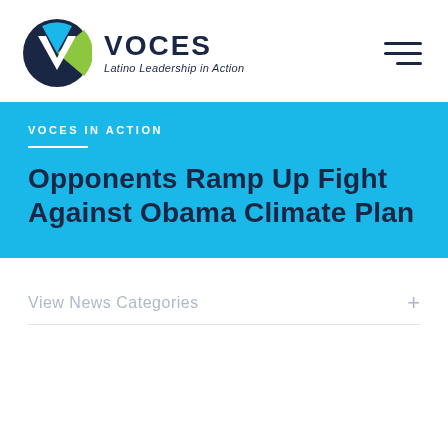VOCES – Latino Leadership in Action
VOCES IN ACTION
Opponents Ramp Up Fight Against Obama Climate Plan
View News Categories